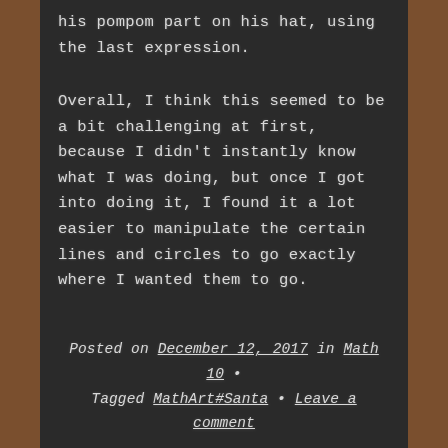his pompom part on his hat, using the last expression.
Overall, I think this seemed to be a bit challenging at first, because I didn't instantly know what I was doing, but once I got into doing it, I found it a lot easier to manipulate the certain lines and circles to go exactly where I wanted them to go.
Posted on December 12, 2017 in Math 10 • Tagged MathArt#Santa • Leave a comment